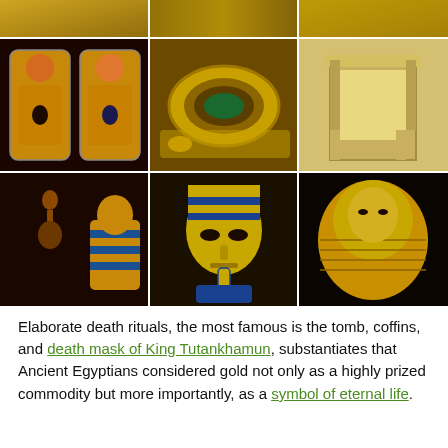[Figure (photo): 3x3 grid of photos showing ancient Egyptian artifacts from Tutankhamun's tomb: top row partial strip of golden artifacts, middle row showing cartouche pendants, gold bracelet/ring, and an ornate golden throne chair, bottom row showing a golden figurine/statue, the famous golden death mask of Tutankhamun, and a golden sarcophagus/coffin]
Elaborate death rituals, the most famous is the tomb, coffins, and death mask of King Tutankhamun, substantiates that Ancient Egyptians considered gold not only as a highly prized commodity but more importantly, as a symbol of eternal life.